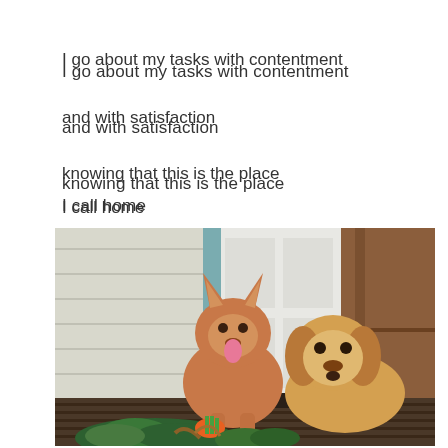I go about my tasks with contentment
and with satisfaction
knowing that this is the place
I call home
[Figure (photo): Two dogs sitting on a wooden porch in front of a white door. The left dog is a red/brown cattle dog (Australian Shepherd type) with ears up and tongue out. The right dog is a golden retriever. In front of them are harvested garden vegetables including kale, carrots, and other greens.]